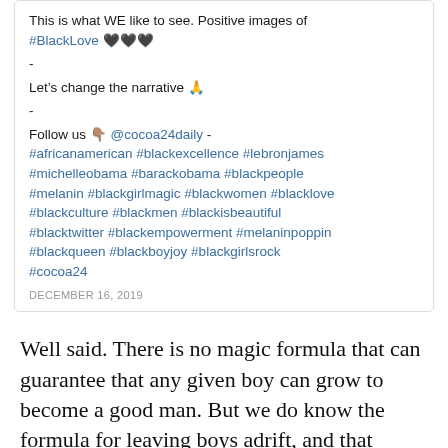This is what WE like to see. Positive images of #BlackLove 🖤🖤🖤
-
Let's change the narrative 🙏
-
Follow us 👇🏽 @cocoa24daily - #africanamerican #blackexcellence #lebronjames #michelleobama #barackobama #blackpeople #melanin #blackgirlmagic #blackwomen #blacklove #blackculture #blackmen #blackisbeautiful #blacktwitter #blackempowerment #melaninpoppin #blackqueen #blackboyjoy #blackgirlsrock #cocoa24
DECEMBER 16, 2019
Well said. There is no magic formula that can guarantee that any given boy can grow to become a good man. But we do know the formula for leaving boys adrift, and that formula removes good men from a young boy's life.
On that this...